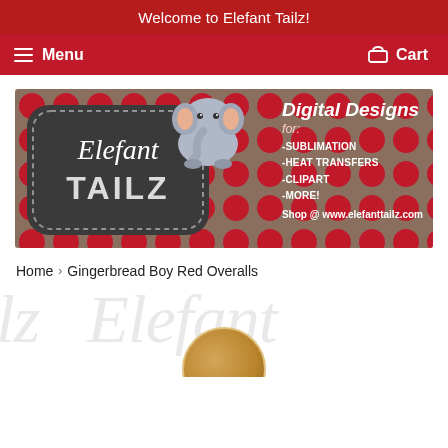Welcome to Elefant Tailz!
Menu   Cart
[Figure (illustration): Elefant Tailz brand banner with red polka-dot background, chalkboard-style logo sign reading 'Elefant TAILZ', cute cartoon elephant, and text reading 'Digital Designs for: -SUBLIMATION -HEAT TRANSFERS -CLIPART -MORE! Shop @ www.elefanttailz.com']
Home › Gingerbread Boy Red Overalls
[Figure (photo): Partial product image and watermark showing 'ilz Elefant' in light gray italic script, with a round product photo beginning to appear at the bottom center]